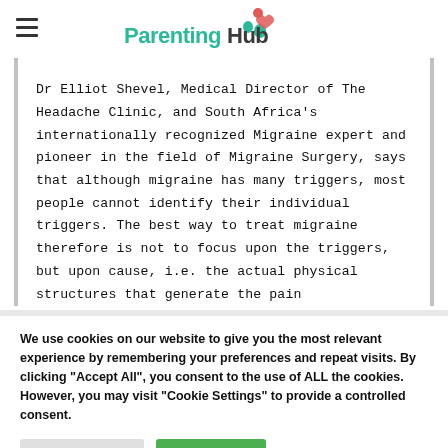ParentingHub
Dr Elliot Shevel, Medical Director of The Headache Clinic, and South Africa's internationally recognized Migraine expert and pioneer in the field of Migraine Surgery, says that although migraine has many triggers, most people cannot identify their individual triggers. The best way to treat migraine therefore is not to focus upon the triggers, but upon cause, i.e. the actual physical structures that generate the pain
We use cookies on our website to give you the most relevant experience by remembering your preferences and repeat visits. By clicking "Accept All", you consent to the use of ALL the cookies. However, you may visit "Cookie Settings" to provide a controlled consent.